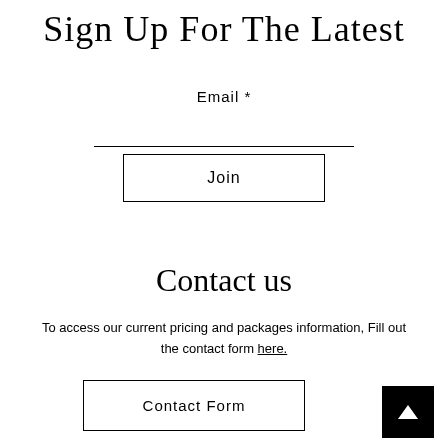Sign Up For The Latest
Email *
[Figure (other): Email input field (underline style)]
Join
Contact us
To access our current pricing and packages information, Fill out the contact form here.
Contact Form
[Figure (other): Black square button with white upward arrow (back to top)]